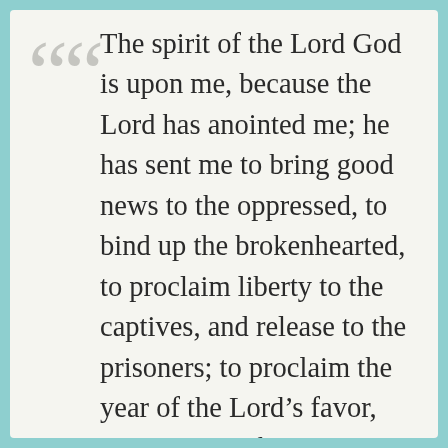The spirit of the Lord God is upon me, because the Lord has anointed me; he has sent me to bring good news to the oppressed, to bind up the brokenhearted, to proclaim liberty to the captives, and release to the prisoners; to proclaim the year of the Lord’s favor, and the day of vengeance of our God; to comfort all who mourn; to provide for those who mourn in Zion — to give them a garland instead of ashes, the oil of gladness instead of mourning, the